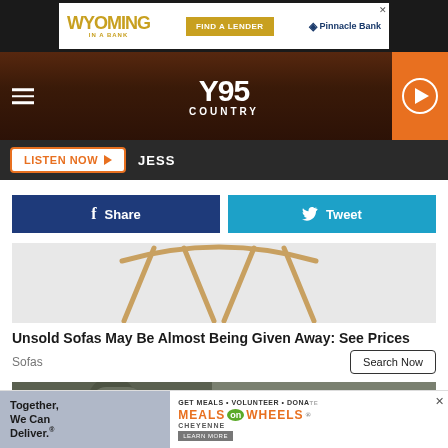[Figure (screenshot): Wyoming Pinnacle Bank advertisement banner with 'Find a Lender' button]
[Figure (screenshot): Y95 Country radio station banner with hamburger menu and play button]
[Figure (screenshot): Listen Now button bar with JESS text]
[Figure (screenshot): Facebook Share and Twitter Tweet social sharing buttons]
[Figure (photo): Partial chair image showing wooden legs on white background]
Unsold Sofas May Be Almost Being Given Away: See Prices
Sofas
[Figure (photo): Military soldier with camouflage helmet and tactical gear]
[Figure (screenshot): Meals on Wheels Cheyenne advertisement with 'Together, We Can Deliver.' and 'GET MEALS • VOLUNTEER • DONATE']